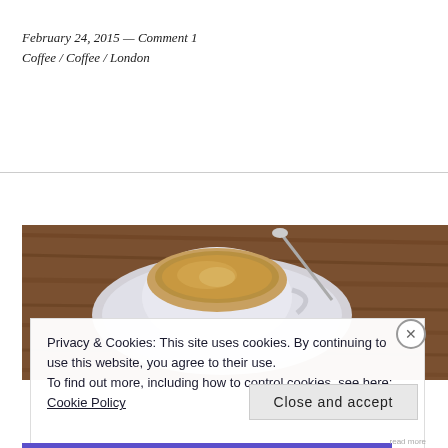February 24, 2015 — Comment 1
Coffee / Coffee / London
[Figure (photo): Overhead view of a cappuccino or latte in a white cup on a saucer with a spoon, on a dark wooden table]
Privacy & Cookies: This site uses cookies. By continuing to use this website, you agree to their use.
To find out more, including how to control cookies, see here: Cookie Policy
Close and accept